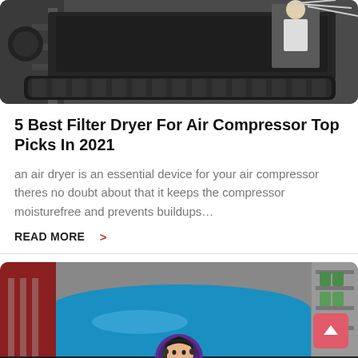[Figure (photo): Industrial machinery — tracked heavy equipment with steel beams and scaffolding in a dark industrial setting]
5 Best Filter Dryer For Air Compressor Top Picks In 2021
an air dryer is an essential device for your air compressor theres no doubt about that it keeps the compressor moisturefree and prevents buildups…
READ MORE  >
[Figure (photo): Large blue industrial barrel/drum in a warehouse setting with red equipment and shelving in the background. A chat support avatar (woman with headset) overlays the bottom center.]